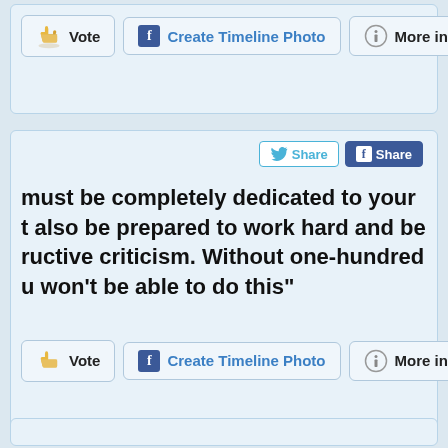[Figure (screenshot): Top action button row with Vote, Create Timeline Photo, and More info buttons]
[Figure (screenshot): Middle card with Twitter and Facebook Share buttons, large bold quote text, and bottom action button row with Vote, Create Timeline Photo, and More info buttons]
must be completely dedicated to your t also be prepared to work hard and be ructive criticism. Without one-hundred u won't be able to do this"